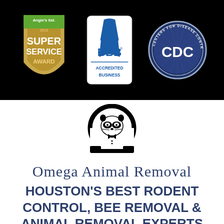[Figure (logo): Three certification logos on black background: Angie's List 2013 Super Service Award (gold shield with green top), BBB Accredited Business (blue flame logo), and CDC Centers for Disease Control and Prevention (dark blue circular seal)]
[Figure (logo): Omega Animal Removal logo: a raccoon wearing a bow tie inside an omega symbol, in black and white]
Omega Animal Removal
HOUSTON'S BEST RODENT CONTROL, BEE REMOVAL & ANIMAL REMOVAL EXPERTS